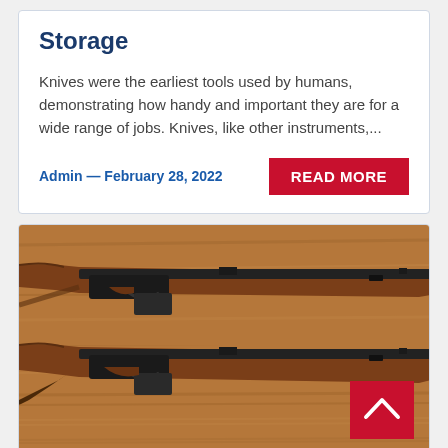Storage
Knives were the earliest tools used by humans, demonstrating how handy and important they are for a wide range of jobs. Knives, like other instruments,...
Admin — February 28, 2022
READ MORE
[Figure (photo): Two bolt-action rifles (Lee-Enfield style) with wooden stocks laid side by side on a wooden surface. A red scroll-to-top button with an upward chevron is visible in the lower right area of the image.]